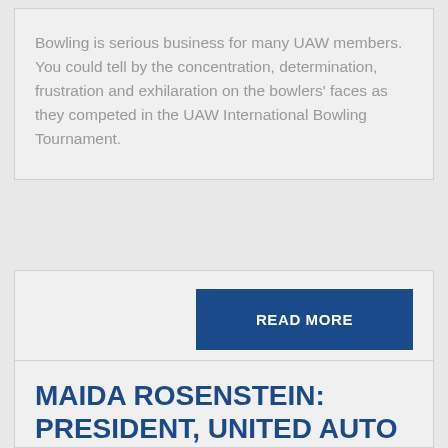Bowling is serious business for many UAW members. You could tell by the concentration, determination, frustration and exhilaration on the bowlers' faces as they competed in the UAW International Bowling Tournament.
READ MORE
MAIDA ROSENSTEIN: PRESIDENT, UNITED AUTO WORKERS LOCAL 2110 TECHNICAL, OFFICE AND PROFESSIONAL WORKERS